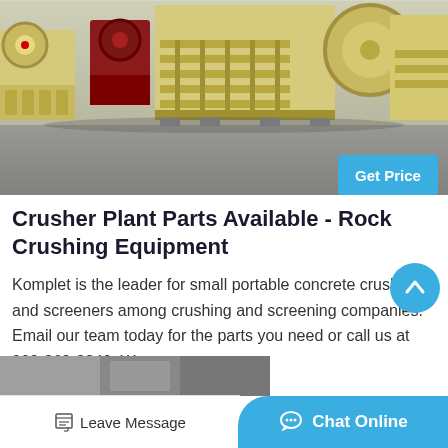[Figure (photo): Industrial crusher machines in a warehouse — large yellow/cream colored jaw crushers arranged in a row on a concrete floor]
Get Price
Crusher Plant Parts Available - Rock Crushing Equipment
Komplet is the leader for small portable concrete crushers and screeners among crushing and screening companies. Email our team today for the parts you need or call us at 908-369-3340. We...
[Figure (photo): Partial view of industrial equipment/machinery at the bottom of the page]
Leave Message
Chat Online